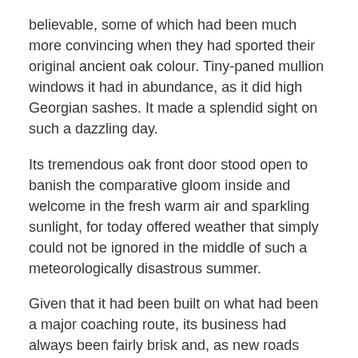believable, some of which had been much more convincing when they had sported their original ancient oak colour. Tiny-paned mullion windows it had in abundance, as it did high Georgian sashes. It made a splendid sight on such a dazzling day.
Its tremendous oak front door stood open to banish the comparative gloom inside and welcome in the fresh warm air and sparkling sunlight, for today offered weather that simply could not be ignored in the middle of such a meteorologically disastrous summer.
Given that it had been built on what had been a major coaching route, its business had always been fairly brisk and, as new roads were built and other forms of transport devised, it maintained its popularity purely because of its pleasant architecture and beautiful setting. For Hamsley Black Cross is a very picturesque place and, being so close to the river Hams, brings the added custom of those who like messing about on the water.